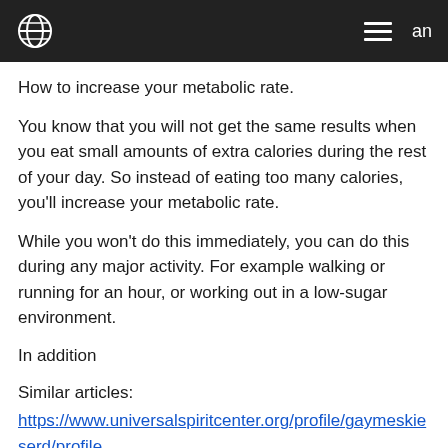an
How to increase your metabolic rate.
You know that you will not get the same results when you eat small amounts of extra calories during the rest of your day. So instead of eating too many calories, you'll increase your metabolic rate.
While you won't do this immediately, you can do this during any major activity. For example walking or running for an hour, or working out in a low-sugar environment.
In addition
Similar articles:
https://www.universalspiritcenter.org/profile/gaymeskieserd/profile